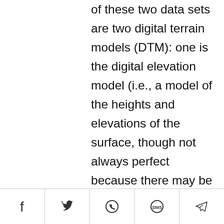of these two data sets are two digital terrain models (DTM): one is the digital elevation model (i.e., a model of the heights and elevations of the surface, though not always perfect because there may be buildings and
Utilitzem cookies per assegurar que se li proporcione la millor experiència en el nostre lloc web. Si continua utilitzant aquest lloc suposem que accepta el canvi.
[Figure (other): Social share bar with icons: Facebook, Twitter, WhatsApp, SMS, Telegram]